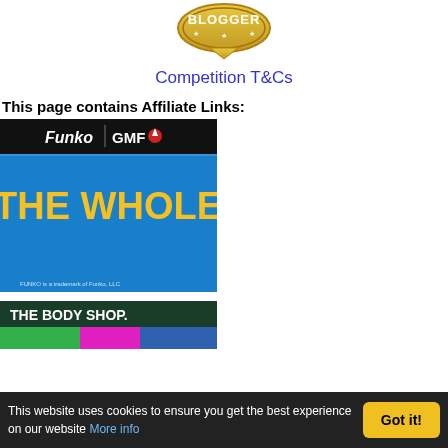[Figure (logo): Blogger badge/shield logo with gold/yellow coloring and stars, text BLOGGER]
Competition T&Cs
This page contains Affiliate Links:
[Figure (illustration): Funko x GMF product advertisement banner. Blue background with Funko and GMF logos at top, large yellow text reading THE WHOLE, small copyright text at bottom]
[Figure (illustration): The Body Shop advertisement banner. Dark green background with white text THE BODY SHOP. and colorful product imagery below]
This website uses cookies to ensure you get the best experience on our website More info Got it!